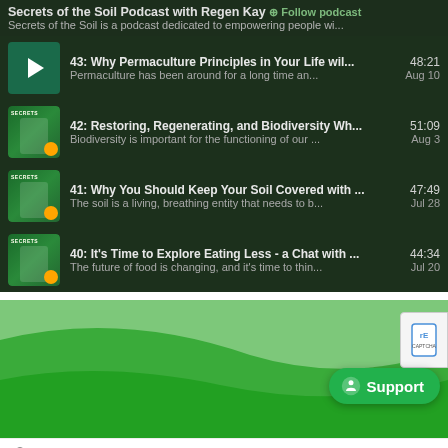Secrets of the Soil Podcast with Regen Kay · Follow podcast
Secrets of the Soil is a podcast dedicated to empowering people wi...
43: Why Permaculture Principles in Your Life wil... 48:21 | Permaculture has been around for a long time an... Aug 10
42: Restoring, Regenerating, and Biodiversity Wh... 51:09 | Biodiversity is important for the functioning of our ... Aug 3
41: Why You Should Keep Your Soil Covered with ... 47:49 | The soil is a living, breathing entity that needs to b... Jul 28
40: It's Time to Explore Eating Less - a Chat with ... 44:34 | The future of food is changing, and it's time to thin... Jul 20
[Figure (screenshot): Green decorative wave/banner background section with green color bands]
Support
Search the site